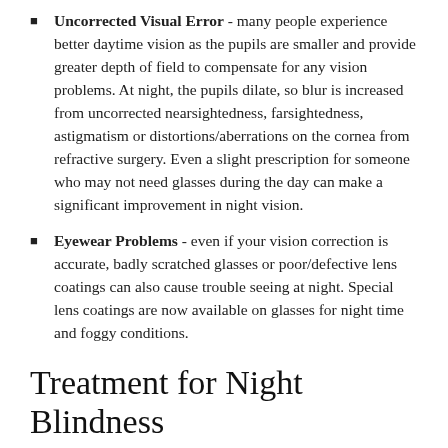Uncorrected Visual Error - many people experience better daytime vision as the pupils are smaller and provide greater depth of field to compensate for any vision problems. At night, the pupils dilate, so blur is increased from uncorrected nearsightedness, farsightedness, astigmatism or distortions/aberrations on the cornea from refractive surgery. Even a slight prescription for someone who may not need glasses during the day can make a significant improvement in night vision.
Eyewear Problems - even if your vision correction is accurate, badly scratched glasses or poor/defective lens coatings can also cause trouble seeing at night. Special lens coatings are now available on glasses for night time and foggy conditions.
Treatment for Night Blindness
Some causes for night blindness are treatable, while others are not, so the first step is a comprehensive eye exam to determine what the root of the problem is. Treatments range from simply purchasing a special pair of glasses, lens coatings or contact lenses to wear at night (for optical issues such as myopia) to surgery (to correct the underlying problem such as cataracts), to medication (for diseases like glaucoma). In some